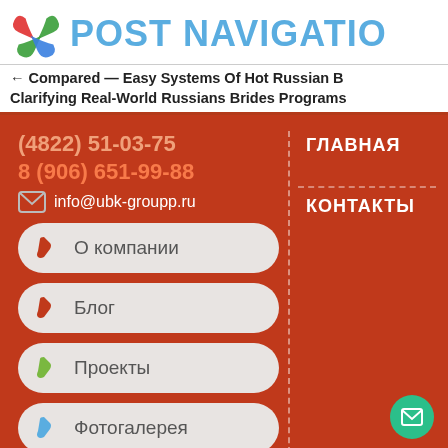POST NAVIGATION
← Compared — Easy Systems Of Hot Russian B... Clarifying Real-World Russians Brides Programs →
(4822) 51-03-75
8 (906) 651-99-88
info@ubk-groupp.ru
ГЛАВНАЯ
КОНТАКТЫ
О компании
Блог
Проекты
Фотогалерея